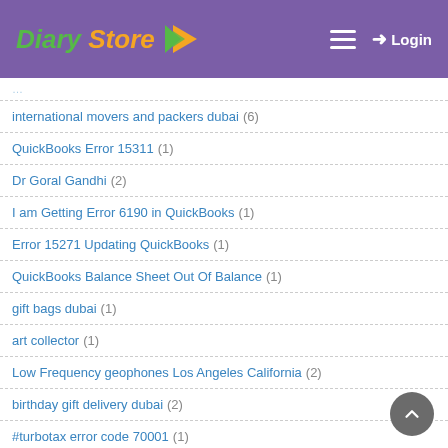Diary Store — Login
international movers and packers dubai (6)
QuickBooks Error 15311 (1)
Dr Goral Gandhi (2)
I am Getting Error 6190 in QuickBooks (1)
Error 15271 Updating QuickBooks (1)
QuickBooks Balance Sheet Out Of Balance (1)
gift bags dubai (1)
art collector (1)
Low Frequency geophones Los Angeles California (2)
birthday gift delivery dubai (2)
#turbotax error code 70001 (1)